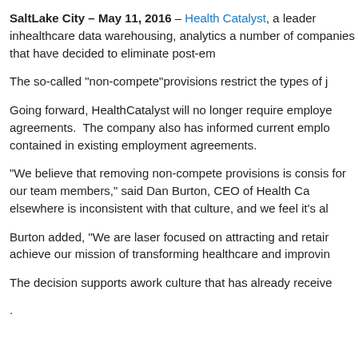SaltLake City – May 11, 2016 – Health Catalyst, a leader inhealthcare data warehousing, analytics a number of companies that have decided to eliminate post-em
The so-called “non-compete”provisions restrict the types of j
Going forward, HealthCatalyst will no longer require employe agreements.  The company also has informed current emplo contained in existing employment agreements.
“We believe that removing non-compete provisions is consis for our team members,” said Dan Burton, CEO of Health Ca elsewhere is inconsistent with that culture, and we feel it’s al
Burton added, “We are laser focused on attracting and retair achieve our mission of transforming healthcare and improvin
The decision supports awork culture that has already receive
.